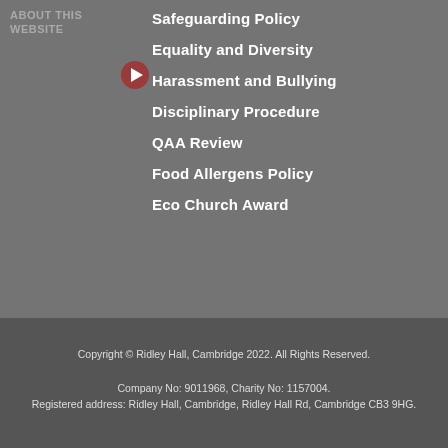ABOUT THIS WEBSITE
Safeguarding Policy
Equality and Diversity
Harassment and Bullying
Disciplinary Procedure
QAA Review
Food Allergens Policy
Eco Church Award
Copyright © Ridley Hall, Cambridge 2022. All Rights Reserved.

Company No: 9011968, Charity No: 1157004.
Registered address: Ridley Hall, Cambridge, Ridley Hall Rd, Cambridge CB3 9HG.